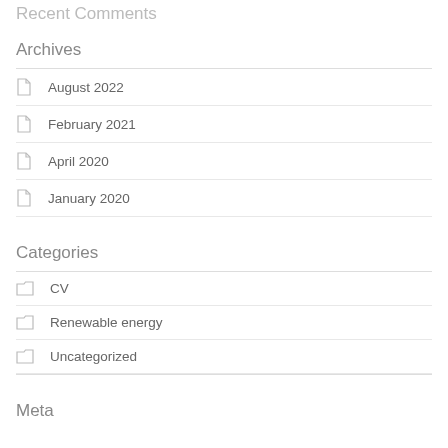Recent Comments
Archives
August 2022
February 2021
April 2020
January 2020
Categories
CV
Renewable energy
Uncategorized
Meta